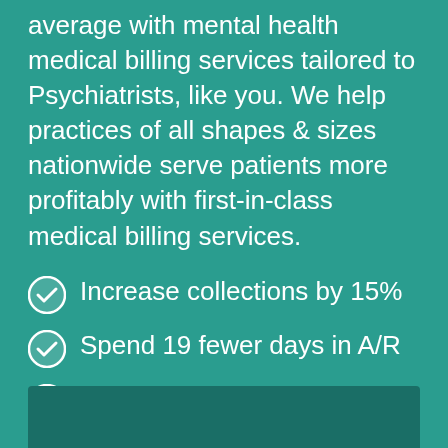average with mental health medical billing services tailored to Psychiatrists, like you. We help practices of all shapes & sizes nationwide serve patients more profitably with first-in-class medical billing services.
Increase collections by 15%
Spend 19 fewer days in A/R
Get started in as few as 5 business days
[Figure (photo): Partial bottom image area, appears to be a photo partially visible at the bottom of the page with dark teal background]